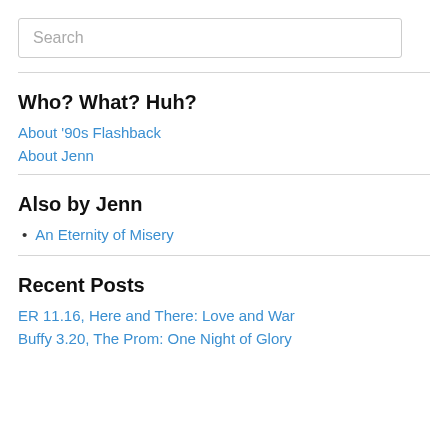Search
Who? What? Huh?
About '90s Flashback
About Jenn
Also by Jenn
An Eternity of Misery
Recent Posts
ER 11.16, Here and There: Love and War
Buffy 3.20, The Prom: One Night of Glory